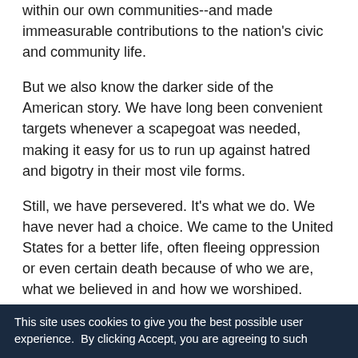within our own communities--and made immeasurable contributions to the nation's civic and community life.
But we also know the darker side of the American story. We have long been convenient targets whenever a scapegoat was needed, making it easy for us to run up against hatred and bigotry in their most vile forms.
Still, we have persevered. It's what we do. We have never had a choice. We came to the United States for a better life, often fleeing oppression or even certain death because of who we are, what we believed in and how we worshiped. Once here, we never forgot from where we came. It is why Asian/ Pacific Islander and Jewish groups have worked tirelessly to pave the way for others; and to have each other's backs.
A partial line of text begins here...
This site uses cookies to give you the best possible user experience.  By clicking Accept, you are agreeing to such